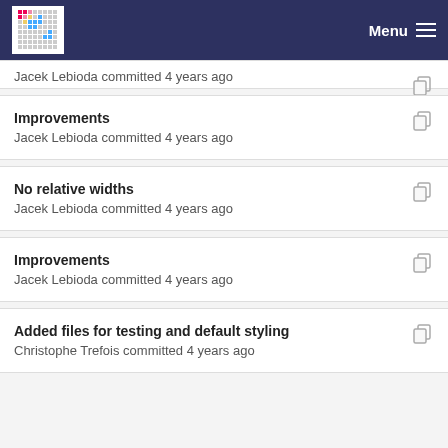Menu
Jacek Lebioda committed 4 years ago
Improvements
Jacek Lebioda committed 4 years ago
No relative widths
Jacek Lebioda committed 4 years ago
Improvements
Jacek Lebioda committed 4 years ago
Added files for testing and default styling
Christophe Trefois committed 4 years ago